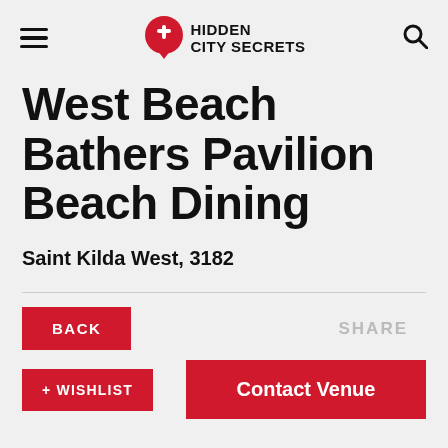HIDDEN CITY SECRETS
West Beach Bathers Pavilion Beach Dining
Saint Kilda West, 3182
BACK
SHARE
+ WISHLIST
Contact Venue